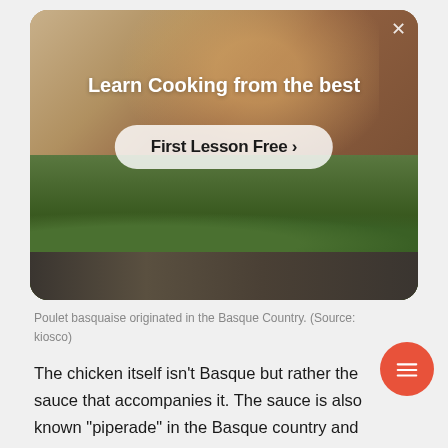[Figure (screenshot): Advertisement overlay card showing a cooking lesson promotion with a person in a kitchen background, headline 'Learn Cooking from the best', and a 'First Lesson Free >' call-to-action button with a close X button in the top right corner. Lower portion shows greenery and rocks.]
Poulet basquaise originated in the Basque Country. (Source: kiosco)
The chicken itself isn't Basque but rather the sauce that accompanies it. The sauce is also known "piperade" in the Basque country and is made with tomatoes, peppers, and spices.